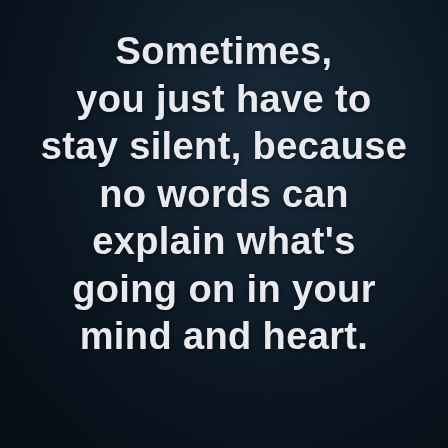Sometimes, you just have to stay silent, because no words can explain what's going on in your mind and heart.